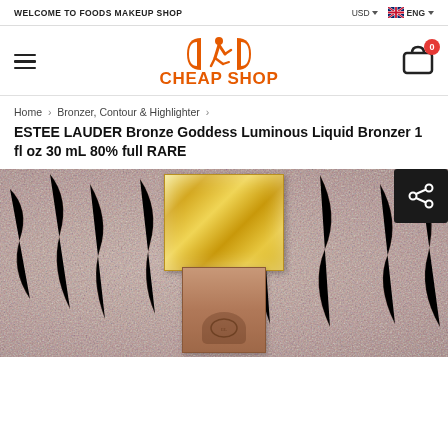WELCOME TO FOODS MAKEUP SHOP  |  USD  ENG
[Figure (logo): Cheap Shop logo with orange running man figure between bracket shapes and text CHEAP SHOP]
Home > Bronzer, Contour & Highlighter >
ESTEE LAUDER Bronze Goddess Luminous Liquid Bronzer 1 fl oz 30 mL 80% full RARE
[Figure (photo): Product photo of Estee Lauder Bronze Goddess Luminous Liquid Bronzer bottle with gold metallic cap on pink fur background]